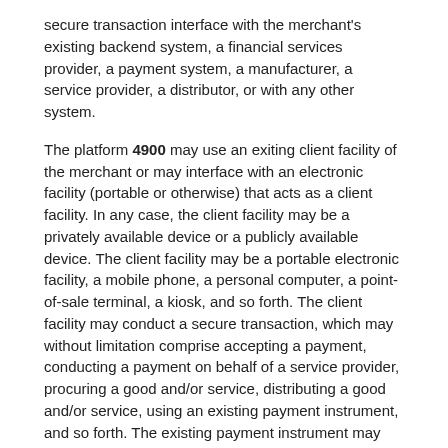secure transaction interface with the merchant's existing backend system, a financial services provider, a payment system, a manufacturer, a service provider, a distributor, or with any other system.
The platform 4900 may use an exiting client facility of the merchant or may interface with an electronic facility (portable or otherwise) that acts as a client facility. In any case, the client facility may be a privately available device or a publicly available device. The client facility may be a portable electronic facility, a mobile phone, a personal computer, a point-of-sale terminal, a kiosk, and so forth. The client facility may conduct a secure transaction, which may without limitation comprise accepting a payment, conducting a payment on behalf of a service provider, procuring a good and/or service, distributing a good and/or service, using an existing payment instrument, and so forth. The existing payment instrument may comprise cash, a credit card, a debit card, an electronic check, a prepaid account, a stored value account, and so forth.
The platform 4900 may provide the merchant with the ability to offer a user, who may be a consumer, with the